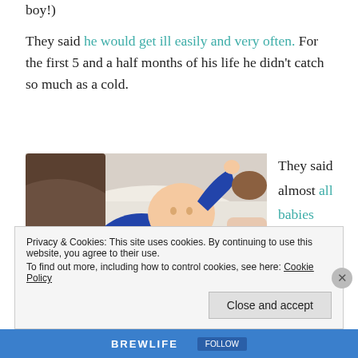boy!)
They said he would get ill easily and very often. For the first 5 and a half months of his life he didn't catch so much as a cold.
[Figure (photo): Baby in a Superman costume lying on a white blanket, arms raised]
They said almost all babies born
Privacy & Cookies: This site uses cookies. By continuing to use this website, you agree to their use.
To find out more, including how to control cookies, see here: Cookie Policy
Close and accept